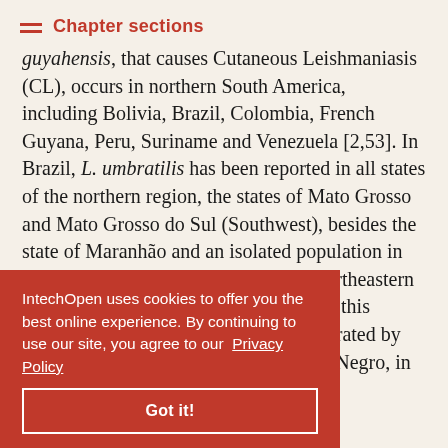Chapter sections
guyahensis, that causes Cutaneous Leishmaniasis (CL), occurs in northern South America, including Bolivia, Brazil, Colombia, French Guyana, Peru, Suriname and Venezuela [2,53]. In Brazil, L. umbratilis has been reported in all states of the northern region, the states of Mato Grosso and Mato Grosso do Sul (Southwest), besides the state of Maranhão and an isolated population in the state of Pernambuco, both in the northeastern region [2, 54 ,55]. Thus, populations of this species are spread over vast areas, separated by geographic barriers such as Negro, in the , sandfly bilities, h favors . Thus, considering the vast geographic area, with
IntechOpen uses cookies to offer you the best online experience. By continuing to use our site, you agree to our Privacy Policy Got it!